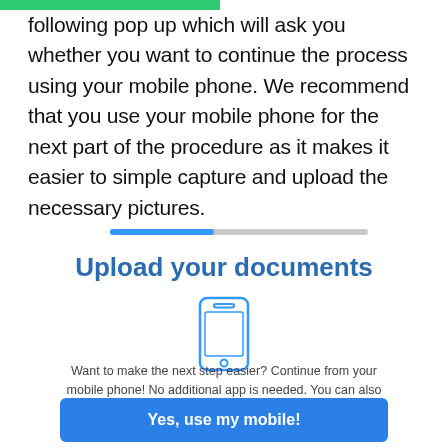following pop up which will ask you whether you want to continue the process using your mobile phone. We recommend that you use your mobile phone for the next part of the procedure as it makes it easier to simple capture and upload the necessary pictures.
[Figure (infographic): A progress bar showing approximately 40% completion, with blue fill on the left and grey on the right.]
Upload your documents
[Figure (illustration): A simple blue outline icon of a smartphone/mobile phone.]
Want to make the next step easier? Continue from your mobile phone! No additional app is needed. You can also keep going with desktop.
Yes, use my mobile!